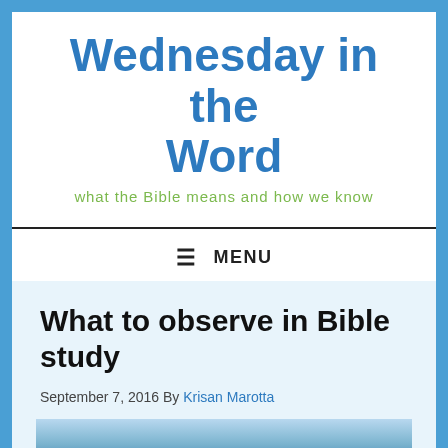Wednesday in the Word
what the Bible means and how we know
≡ MENU
What to observe in Bible study
September 7, 2016 By Krisan Marotta
[Figure (photo): Sky with clouds background image with text overlay reading 'WHAT TO OBSERVE IN BIBLE STUDY']